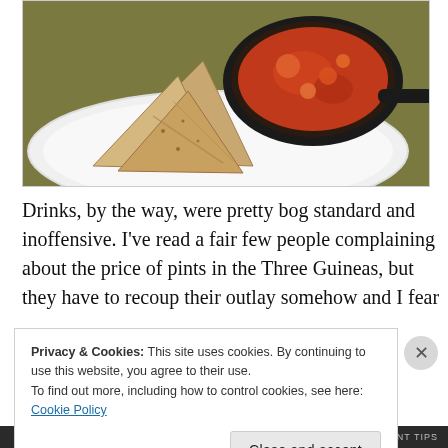[Figure (photo): Photo of flatbread/samosa pieces on a white plate with a small black skillet of tomato-based sauce/curry]
Drinks, by the way, were pretty bog standard and inoffensive. I've read a fair few people complaining about the price of pints in the Three Guineas, but they have to recoup their outlay somehow and I fear
Privacy & Cookies: This site uses cookies. By continuing to use this website, you agree to their use.
To find out more, including how to control cookies, see here: Cookie Policy
Close and accept
RECENT TIPS